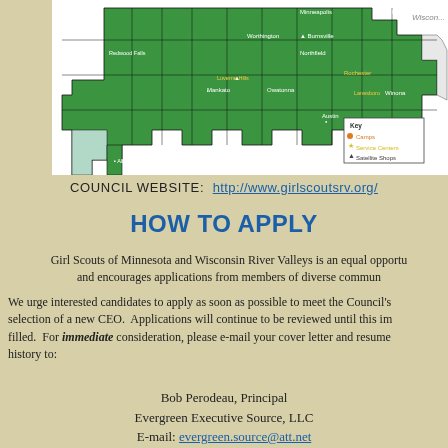[Figure (map): Map of Minnesota and Wisconsin River Valleys Girl Scouts council territory, showing counties in green with camp and service center locations marked. Includes a key showing Camps (orange circle), Service Centers (yellow star), and Satellite Shops (triangle). Cities labeled include Minneapolis, Hudson, Worthington, Burnsville, Redwood Falls, Northfield, Mankato, Owatonna, Rochester, Lanesboro, Austin, Winona, Albert Lea.]
COUNCIL WEBSITE:  http://www.girlscoutsrv.org/
HOW TO APPLY
Girl Scouts of Minnesota and Wisconsin River Valleys is an equal opportunity employer and encourages applications from members of diverse communities.
We urge interested candidates to apply as soon as possible to meet the Council's timeline for selection of a new CEO.  Applications will continue to be reviewed until this important position is filled.  For immediate consideration, please e-mail your cover letter and resume with compensation history to:
Bob Perodeau, Principal
Evergreen Executive Source, LLC
E-mail: evergreen.source@att.net
Direct Line (800) 286.4009(800) 286.4009    www.egreensource.com